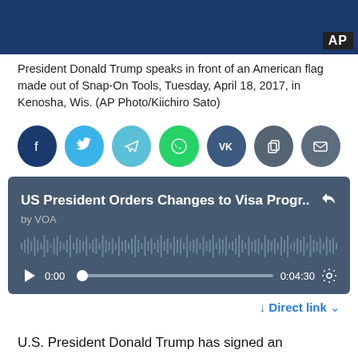[Figure (photo): President Donald Trump speaking in front of an American flag made out of Snap-On Tools, with AP badge in corner]
President Donald Trump speaks in front of an American flag made out of Snap-On Tools, Tuesday, April 18, 2017, in Kenosha, Wis. (AP Photo/Kiichiro Sato)
[Figure (infographic): Social media sharing buttons: Facebook, Twitter, Telegram, WhatsApp, VK, Copy, Email]
[Figure (screenshot): Audio player for 'US President Orders Changes to Visa Progr..' by VOA, duration 0:04:30, at 0:00]
↓ Direct link ∨
U.S. President Donald Trump has signed an executive